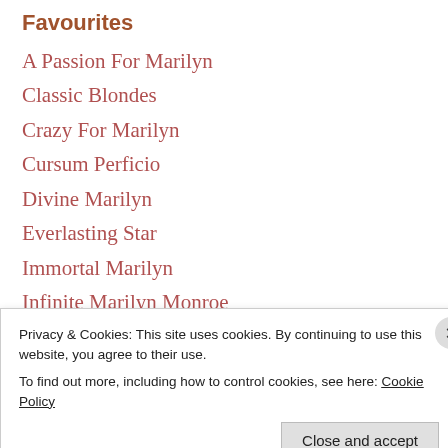Favourites
A Passion For Marilyn
Classic Blondes
Crazy For Marilyn
Cursum Perficio
Divine Marilyn
Everlasting Star
Immortal Marilyn
Infinite Marilyn Monroe
Irish Marilyn Monroe Fan Club
Marilyn et la Mode
Privacy & Cookies: This site uses cookies. By continuing to use this website, you agree to their use.
To find out more, including how to control cookies, see here: Cookie Policy
Close and accept